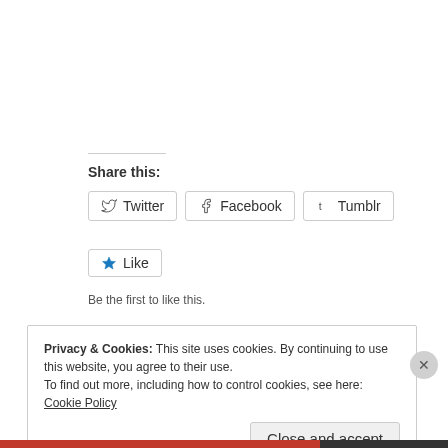Share this:
Twitter
Facebook
Tumblr
Like
Be the first to like this.
Privacy & Cookies: This site uses cookies. By continuing to use this website, you agree to their use.
To find out more, including how to control cookies, see here: Cookie Policy
Close and accept